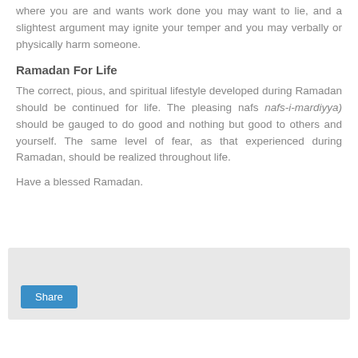where you are and wants work done you may want to lie, and a slightest argument may ignite your temper and you may verbally or physically harm someone.
Ramadan For Life
The correct, pious, and spiritual lifestyle developed during Ramadan should be continued for life. The pleasing nafs nafs-i-mardiyya) should be gauged to do good and nothing but good to others and yourself. The same level of fear, as that experienced during Ramadan, should be realized throughout life.
Have a blessed Ramadan.
[Figure (other): Share button widget box with light gray background and a blue Share button]